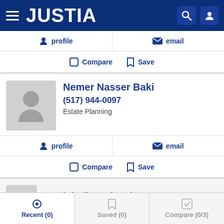JUSTIA
profile   email
Compare   Save
Nemer Nasser Baki
(517) 944-0097
Estate Planning
profile   email
Compare   Save
Daniel Allen Shawl
Recent (0)   Saved (0)   Compare (0/3)